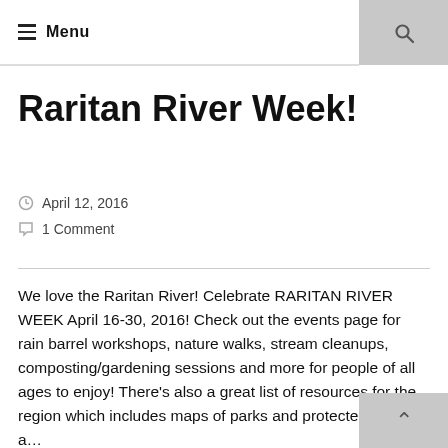≡ Menu
Raritan River Week!
April 12, 2016
1 Comment
We love the Raritan River! Celebrate RARITAN RIVER WEEK April 16-30, 2016! Check out the events page for rain barrel workshops, nature walks, stream cleanups, composting/gardening sessions and more for people of all ages to enjoy! There's also a great list of resources for the region which includes maps of parks and protected areas, a...